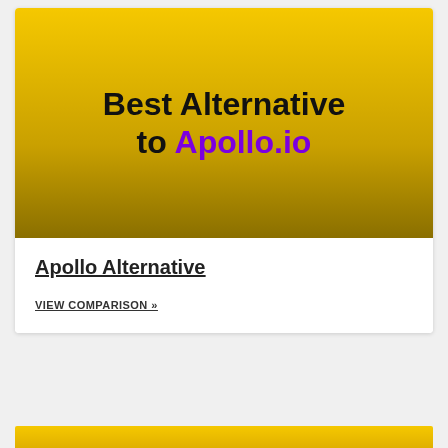[Figure (illustration): Yellow gradient banner image with bold black text 'Best Alternative to' and purple bold text 'Apollo.io']
Apollo Alternative
VIEW COMPARISON »